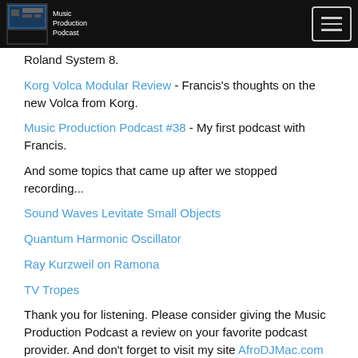Music Production Podcast
Roland System 8.
Korg Volca Modular Review - Francis's thoughts on the new Volca from Korg.
Music Production Podcast #38 - My first podcast with Francis.
And some topics that came up after we stopped recording...
Sound Waves Levitate Small Objects
Quantum Harmonic Oscillator
Ray Kurzweil on Ramona
TV Tropes
Thank you for listening. Please consider giving the Music Production Podcast a review on your favorite podcast provider. And don't forget to visit my site AfroDJMac.com for music production tutorials, videos, and sound packs.
Brian Funk
AfroDJMac